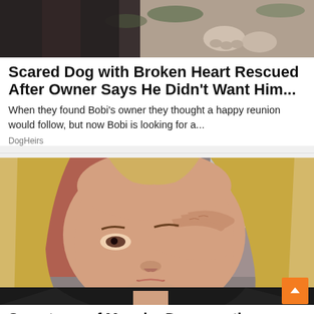[Figure (photo): Partial photo of a dog with paws visible, likely outdoors near dirt and leaves]
Scared Dog with Broken Heart Rescued After Owner Says He Didn't Want Him...
When they found Bobi's owner they thought a happy reunion would follow, but now Bobi is looking for a...
DogHeirs
[Figure (photo): Blonde woman wiping tears from her eye with her hand, wearing black clothing, blurred background]
Symptoms of Macular Degeneration...